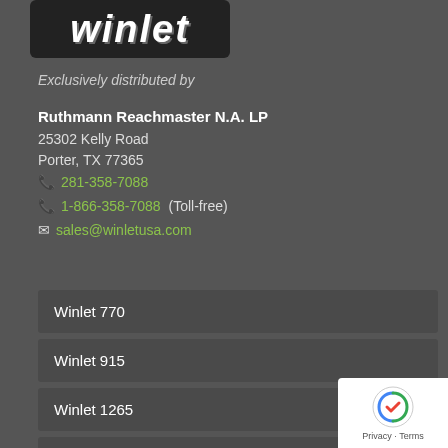[Figure (logo): Winlet logo in white italic bold text on dark background]
Exclusively distributed by
Ruthmann Reachmaster N.A. LP
25302 Kelly Road
Porter, TX 77365
📞 281-358-7088
📞 1-866-358-7088 (Toll-free)
✉ sales@winletusa.com
Winlet 770
Winlet 915
Winlet 1265
Winlet 1320